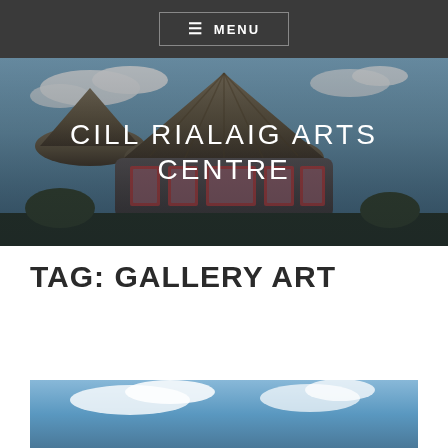☰ MENU
[Figure (photo): Exterior photo of Cill Rialaig Arts Centre building with thatched conical roof, stone walls, red-framed windows, and blue sky with clouds in background]
CILL RIALAIG ARTS CENTRE
TAG: GALLERY ART
[Figure (photo): Partial view of another outdoor photo, showing blue sky at the bottom of the page]